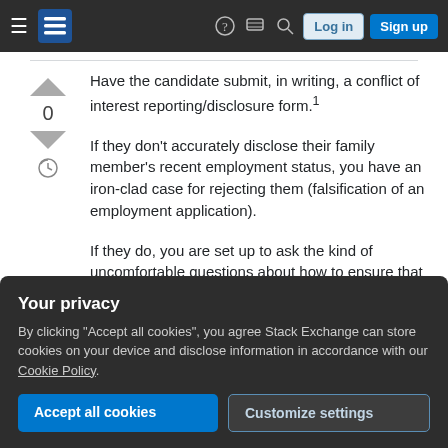[Figure (screenshot): Stack Exchange navigation bar with hamburger menu, logo, help icon, comments icon, search icon, Log in button, and Sign up button]
Have the candidate submit, in writing, a conflict of interest reporting/disclosure form.¹
If they don't accurately disclose their family member's recent employment status, you have an iron-clad case for rejecting them (falsification of an employment application).
If they do, you are set up to ask the kind of uncomfortable questions about how to ensure that
Your privacy
By clicking "Accept all cookies", you agree Stack Exchange can store cookies on your device and disclose information in accordance with our Cookie Policy.
Accept all cookies   Customize settings
necessarily find out when one of your clients or